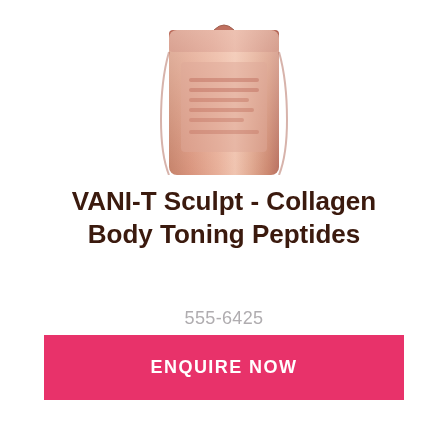[Figure (photo): Product photo of VANI-T Sculpt Collagen Body Toning Peptides — a rose-gold/copper colored flexible pouch/sachet package, partially cropped, showing the top portion of the bag.]
VANI-T Sculpt - Collagen Body Toning Peptides
555-6425
ENQUIRE NOW